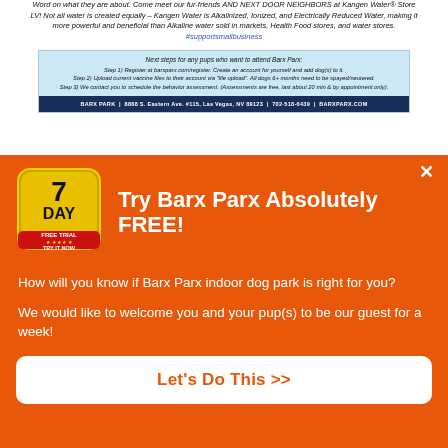Word on what they are about. Come meet our fur-friends AND NEXT DOOR NEIGHBORS at Kangen Water® Store LV! Not all water is created equally – Kangen Water is Alkalinized, Ionized, and Electrically Reduced Water, making it more powerful and beneficial than Alkaline water sold in markets, Health Food stores, and water stores. #supportsmallbusiness
[Figure (infographic): Barx Parx info card with light blue background showing next steps for registration: Step 1) Register at barxparx.com/register. Create an account for yourself and add dog(s) to it. Step 2) Upload current vaccine files to their account via 'file upload'. All dogs 6+ months need to be spayed/neutered. Step 3) We contact you to schedule the behavior assessment. (Assessments are free, last about 20 min & by appointment only). Footer: BARX PARK | 8868 S. Eastern Ave. #115, Las Vegas, NV 89123 | 702-518-6439 | BARXPARX.COM]
[Figure (infographic): Orange popup overlay with 7-Day Free Trial badge, headline 'Try Barx Parx Absolutely FREE!', body text about indoor dog park, and a white CTA button 'Let's Do This >>']
Try Barx Parx Absolutely FREE!
How will you know if Barx Parx indoor dog park is right for you?
We would like to welcome you and your pup(s) to be our guest for a week!
Let's Do This >>